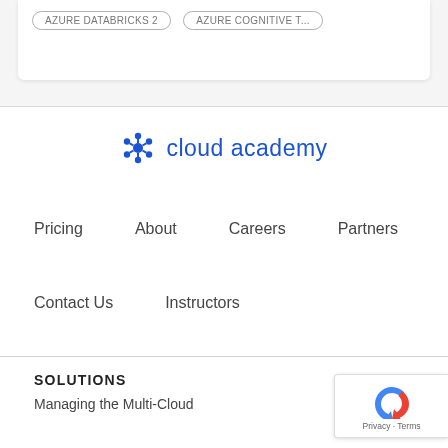[Figure (other): Tag badges partially visible at top: two pill-shaped tags with gray border text]
[Figure (logo): Cloud Academy logo: blue snowflake/atom icon followed by 'cloud academy' text in blue]
Pricing
About
Careers
Partners
Contact Us
Instructors
SOLUTIONS
Managing the Multi-Cloud
[Figure (logo): Google reCAPTCHA badge with recycle-arrow icon and 'Privacy · Terms' text]